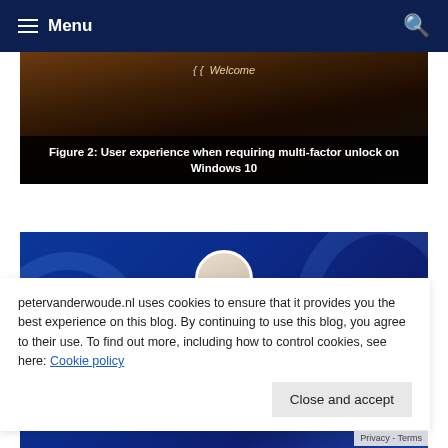≡ Menu
[Figure (screenshot): Dark brown/black image showing a Windows 10 welcome/lock screen with a cursor and 'Welcome' text overlay]
Figure 2: User experience when requiring multi-factor unlock on Windows 10
[Figure (screenshot): Blue Windows 11 welcome/lock screen with a circular avatar photo and 'Welcome' text and dots at the bottom]
petervanderwoude.nl uses cookies to ensure that it provides you the best experience on this blog. By continuing to use this blog, you agree to their use. To find out more, including how to control cookies, see here: Cookie policy
Close and accept
Privacy - Terms